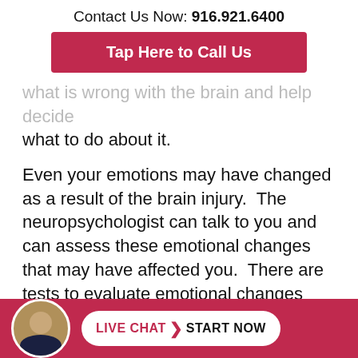Contact Us Now: 916.921.6400
[Figure (other): Red button with white text: Tap Here to Call Us]
what is wrong with the brain and help decide what to do about it.
Even your emotions may have changed as a result of the brain injury.  The neuropsychologist can talk to you and can assess these emotional changes that may have affected you.  There are tests to evaluate emotional changes that a neuropsychologist will likely do.
The n...o...
[Figure (other): Red footer bar with circular avatar photo of a man in a suit and a white pill button reading LIVE CHAT > START NOW]